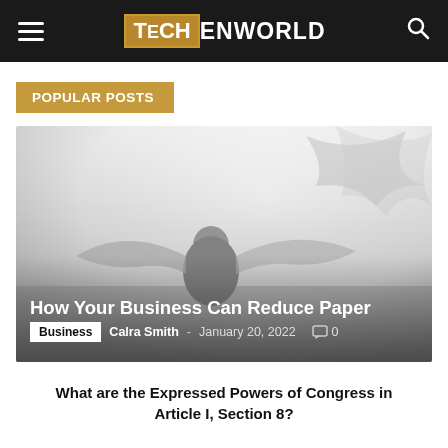TECHENWORLD
POPULAR POSTS
[Figure (photo): Misty atmospheric image of a person with wings in a foggy sky, used as article hero image]
How Your Business Can Reduce Paper Usage
Business  Calra Smith - January 20, 2022  0
What are the Expressed Powers of Congress in Article I, Section 8?